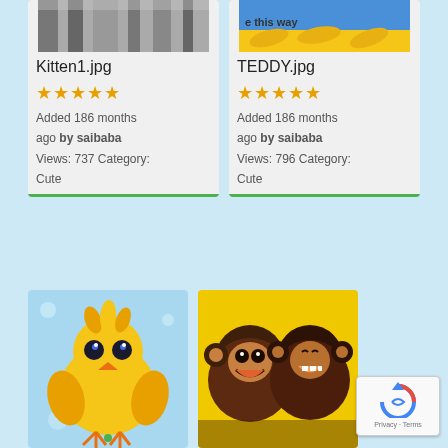[Figure (screenshot): Screenshot of a photo gallery app showing image cards with filenames, star ratings, and metadata]
Kitten1.jpg
★★★★★ Added 186 months ago by saibaba Views: 737 Category: Cute
TEDDY.jpg
★★★★★ Added 186 months ago by saibaba Views: 796 Category: Cute
[Figure (photo): Cartoon yellow chick illustration on blue background]
[Figure (photo): Two baby monkeys smiling on yellow background]